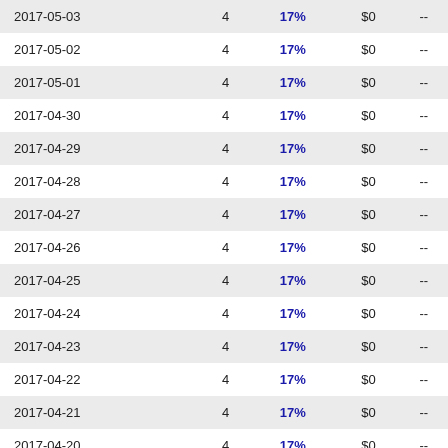| Date |  | % | $ |  |
| --- | --- | --- | --- | --- |
| 2017-05-03 | 4 | 17% | $0 | -- |
| 2017-05-02 | 4 | 17% | $0 | -- |
| 2017-05-01 | 4 | 17% | $0 | -- |
| 2017-04-30 | 4 | 17% | $0 | -- |
| 2017-04-29 | 4 | 17% | $0 | -- |
| 2017-04-28 | 4 | 17% | $0 | -- |
| 2017-04-27 | 4 | 17% | $0 | -- |
| 2017-04-26 | 4 | 17% | $0 | -- |
| 2017-04-25 | 4 | 17% | $0 | -- |
| 2017-04-24 | 4 | 17% | $0 | -- |
| 2017-04-23 | 4 | 17% | $0 | -- |
| 2017-04-22 | 4 | 17% | $0 | -- |
| 2017-04-21 | 4 | 17% | $0 | -- |
| 2017-04-20 | 4 | 17% | $0 | -- |
| 2017-04-19 | 4 | 17% | $0 | -- |
| 2017-04-18 | 4 | 17% | $0 | -- |